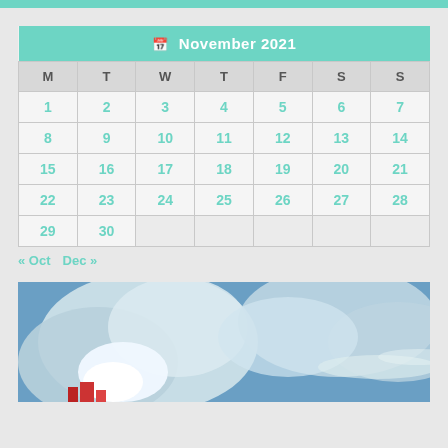| M | T | W | T | F | S | S |
| --- | --- | --- | --- | --- | --- | --- |
| 1 | 2 | 3 | 4 | 5 | 6 | 7 |
| 8 | 9 | 10 | 11 | 12 | 13 | 14 |
| 15 | 16 | 17 | 18 | 19 | 20 | 21 |
| 22 | 23 | 24 | 25 | 26 | 27 | 28 |
| 29 | 30 |  |  |  |  |  |
« Oct   Dec »
[Figure (photo): Sky photo with clouds and blue sky, partial view of a red structure at bottom]